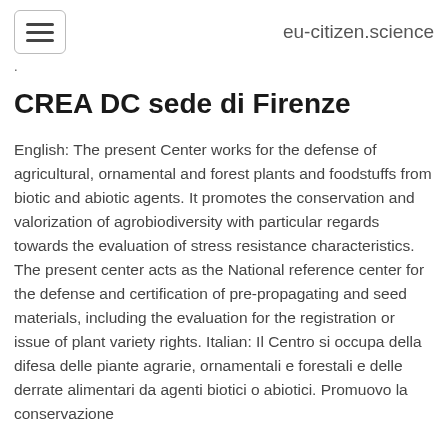eu-citizen.science
CREA DC sede di Firenze
English: The present Center works for the defense of agricultural, ornamental and forest plants and foodstuffs from biotic and abiotic agents. It promotes the conservation and valorization of agrobiodiversity with particular regards towards the evaluation of stress resistance characteristics. The present center acts as the National reference center for the defense and certification of pre-propagating and seed materials, including the evaluation for the registration or issue of plant variety rights. Italian: Il Centro si occupa della difesa delle piante agrarie, ornamentali e forestali e delle derrate alimentari da agenti biotici o abiotici. Promuovo la conservazione